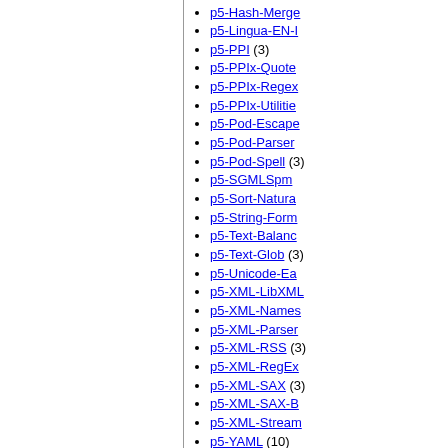p5-Hash-Merge
p5-Lingua-EN-I
p5-PPI (3)
p5-PPIx-Quote
p5-PPIx-Regex
p5-PPIx-Utilitie
p5-Pod-Escape
p5-Pod-Parser
p5-Pod-Spell (3)
p5-SGMLSpm
p5-Sort-Natura
p5-String-Form
p5-Text-Balanc
p5-Text-Glob (3)
p5-Unicode-Ea
p5-XML-LibXML
p5-XML-Names
p5-XML-Parser
p5-XML-RSS (3)
p5-XML-RegEx
p5-XML-SAX (3)
p5-XML-SAX-B
p5-XML-Stream
p5-YAML (10)
p5-libxml (3)
php80-ctype (3)
php80-dom (3)
php80-pspell (3)
php80-simplexml
php80-xml (3)
php80-xmlread
php80-xmlwrite
php80-xsl (3)
py27-pygments
py27-toml (4)
py38-CommonM
py38-alabaster
py38-chardet (9)
py38-docutils (7)
py38-gi-docger
py38-libxml2 (8)